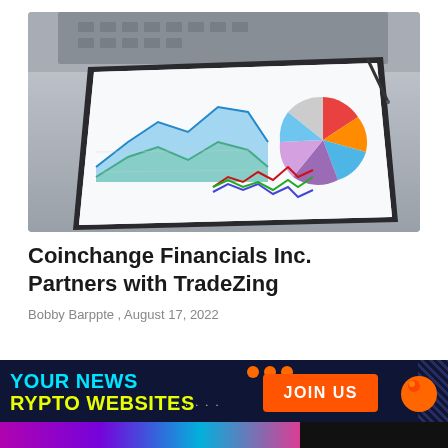[Figure (photo): Tablet on desk displaying financial charts including a colorful pie chart, area chart, and line chart, with a laptop keyboard in the background.]
Coinchange Financials Inc. Partners with TradeZing
Bobby Barppte , August 17, 2022
[Figure (infographic): Dark navy banner advertisement reading 'YOUR NEWS' in cyan and 'RYPTO WEBSITES' in yellow with a JOIN US orange button and orange orb logo.]